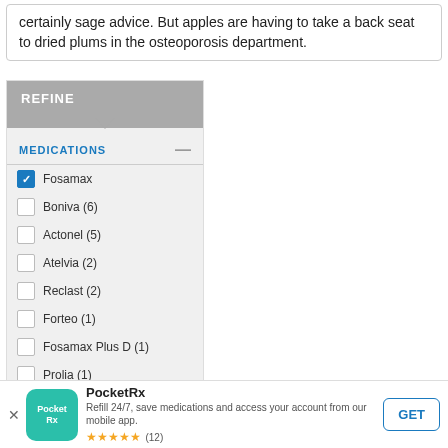certainly sage advice. But apples are having to take a back seat to dried plums in the osteoporosis department.
REFINE
MEDICATIONS
Fosamax (checked)
Boniva (6)
Actonel (5)
Atelvia (2)
Reclast (2)
Forteo (1)
Fosamax Plus D (1)
Prolia (1)
Zometa (1)
PocketRx
Refill 24/7, save medications and access your account from our mobile app.
★★★★★ (12)